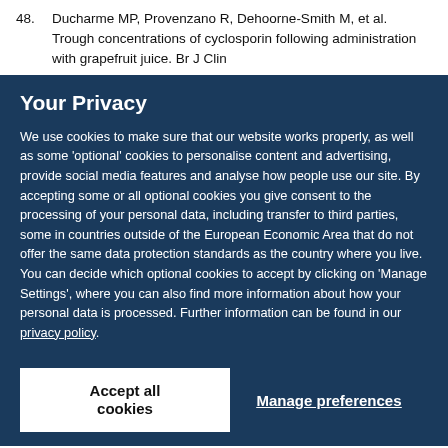48. Ducharme MP, Provenzano R, Dehoorne-Smith M, et al. Trough concentrations of cyclosporin following administration with grapefruit juice. Br J Clin
Your Privacy
We use cookies to make sure that our website works properly, as well as some 'optional' cookies to personalise content and advertising, provide social media features and analyse how people use our site. By accepting some or all optional cookies you give consent to the processing of your personal data, including transfer to third parties, some in countries outside of the European Economic Area that do not offer the same data protection standards as the country where you live. You can decide which optional cookies to accept by clicking on 'Manage Settings', where you can also find more information about how your personal data is processed. Further information can be found in our privacy policy.
Accept all cookies
Manage preferences